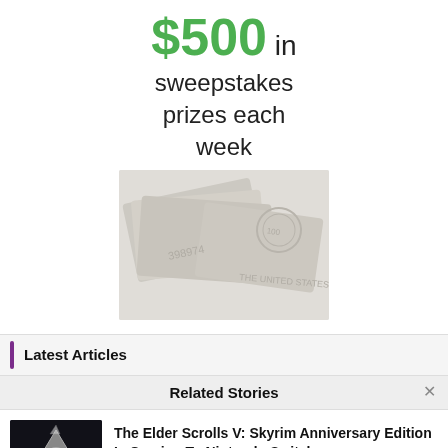$500 in sweepstakes prizes each week
[Figure (photo): Faded/washed out image of US dollar bills and currency]
Latest Articles
Related Stories
The Elder Scrolls V: Skyrim Anniversary Edition Is Coming To Nintendo Switch